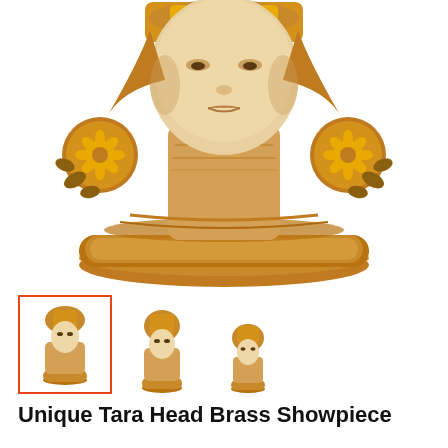[Figure (photo): Close-up photograph of a brass Tara head showpiece with golden tones, showing the face, neck, ornate earrings with floral designs, and base of the sculpture against a white background.]
[Figure (photo): Three thumbnail images of the Unique Tara Head Brass Showpiece: the first (selected, with red/orange border) shows a full front view of the brass Tara head statue; the second shows a slightly angled view; the third shows another angle. All are golden-brass colored figurines.]
Unique Tara Head Brass Showpiece